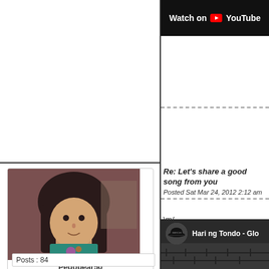[Figure (screenshot): Top right area showing YouTube 'Watch on YouTube' banner in black with YouTube logo]
[Figure (photo): Profile photo of user Pedobear50, a young woman with dark hair wearing a teal shirt]
Pedobear50
Caless Student
[Figure (illustration): Four guitar icons in light blue on light blue background representing user rank]
Posts : 84
Re: Let's share a good song from you...
Posted Sat Mar 24, 2012 2:12 am
\m/
[Figure (screenshot): YouTube video thumbnail showing 'Hari ng Tondo - Glo...' with a black cap icon and dark brick wall background]